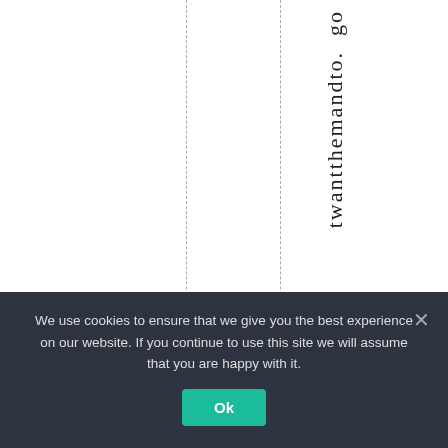twantthemandto. go
We use cookies to ensure that we give you the best experience on our website. If you continue to use this site we will assume that you are happy with it. Ok